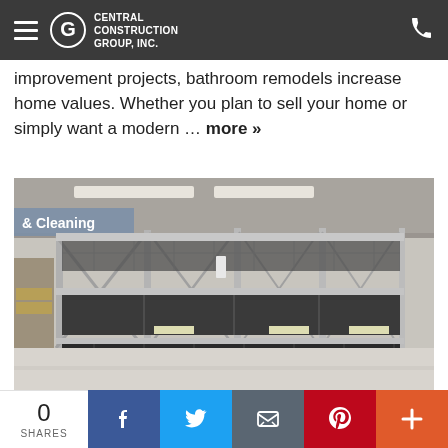Central Construction Group, Inc.
improvement projects, bathroom remodels increase home values. Whether you plan to sell your home or simply want a modern … more »
[Figure (photo): Empty metal shelving racks in a big-box hardware store aisle, with a paper sign partially visible at top left reading '& Cleaning'. Shelves are bare with no products.]
0 SHARES
Facebook share button
Twitter share button
Email share button
Pinterest share button
More share options button